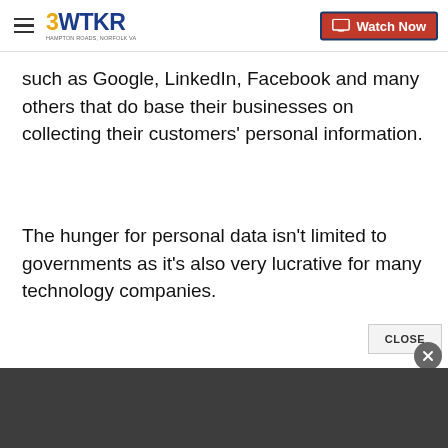3WTKR | Watch Now
such as Google, LinkedIn, Facebook and many others that do base their businesses on collecting their customers' personal information.
The hunger for personal data isn't limited to governments as it's also very lucrative for many technology companies.
The-CNN-Wire
™ & © 2013 Cable News Network, Inc., a Time Warner Company. All rights reserved.